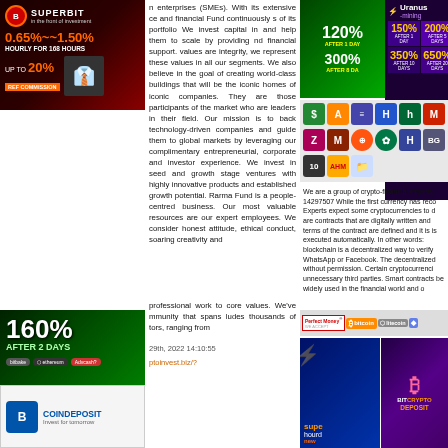[Figure (infographic): Superbit investment ad - red/black background with B logo, '0.65%~~1.50% HOURLY FOR 168 HOURS', 'UP TO 20% REF COMMISSION']
enterprises (SMEs). With its extensive ce and financial Fund continuously s of its portfolio We invest capital in and help them to scale by providing nd financial support. values are integrity, we represent these values in all our segments. We also believe in the goal of creating world-class buildings that will be the iconic homes of iconic companies. They are those participants of the market who are leaders in their field. Our mission is to back technology-driven companies and guide them to global markets by leveraging our complimentary entrepreneurial, corporate and investor experience. We invest in seed and growth stage ventures with highly innovative products and established growth potential. Rarma Fund is a people-centred business. Our most valuable resources are our expert employees. We consider honest attitude, ethical conduct, soaring creativity and professional work to core values. We've mmunity that spans ludes thousands of tors, ranging from
[Figure (infographic): Green crypto ad showing 120% AFTER 1 DAY and 300% AFTER 8 DA(YS)]
[Figure (infographic): Uranus Mining ad - purple background with rates: 150% AFTER 1 DAY, 200% AFTER 5 DAYS, 350% AFTER 10 DAYS, 650% AFTER 20 DAYS]
[Figure (infographic): Grid of colorful cryptocurrency and investment platform icons]
We are a group of crypto-financial experts 14297507 While the first currency has reco Experts expect some cryptocurrencies to d are contracts that are digitally written and terms of the contract are defined and it is is executed automatically. In other words: blockchain is a decentralized way to verify WhatsApp or Facebook. The decentralized without permission. Certain cryptocurrenci unnecessary third parties. Smart contracts be widely used in the financial world and o
[Figure (infographic): Payment logos: Perfect Money WE ACCEPT, bitcoin, litecoin, ethereum]
[Figure (infographic): 160% AFTER 2 DAYS green investment ad]
[Figure (logo): CoinDeposit - Invest for tomorrow logo]
29th, 2022 14:10:55
ptoinvest.biz/?
[Figure (infographic): new super crypto investment platform banner - blue background]
[Figure (logo): BITCRYPTO DEPOSIT logo with Bitcoin B symbol on purple background]